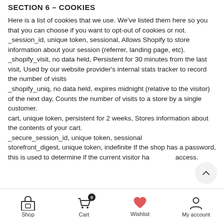SECTION 6 – COOKIES
Here is a list of cookies that we use. We've listed them here so you that you can choose if you want to opt-out of cookies or not.
_session_id, unique token, sessional, Allows Shopify to store information about your session (referrer, landing page, etc).
_shopify_visit, no data held, Persistent for 30 minutes from the last visit, Used by our website provider's internal stats tracker to record the number of visits
_shopify_uniq, no data held, expires midnight (relative to the visitor) of the next day, Counts the number of visits to a store by a single customer.
cart, unique token, persistent for 2 weeks, Stores information about the contents of your cart.
_secure_session_id, unique token, sessional
storefront_digest, unique token, indefinite If the shop has a password, this is used to determine if the current visitor has access.
Shop  Cart  Wishlist  My account